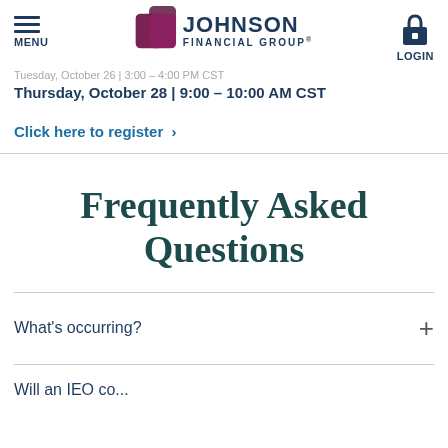MENU | JOHNSON FINANCIAL GROUP® | LOGIN
Tuesday, October 26 | 3:00 – 4:00 PM CST
Thursday, October 28 | 9:00 – 10:00 AM CST
Click here to register >
Frequently Asked Questions
What's occurring?
Will an IEO...